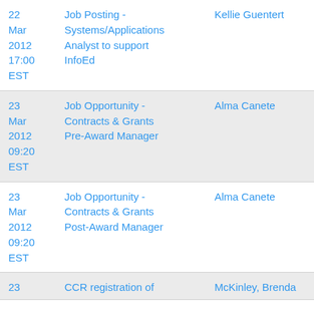| Date | Subject | Author |
| --- | --- | --- |
| 22 Mar 2012 17:00 EST | Job Posting - Systems/Applications Analyst to support InfoEd | Kellie Guentert |
| 23 Mar 2012 09:20 EST | Job Opportunity - Contracts & Grants Pre-Award Manager | Alma Canete |
| 23 Mar 2012 09:20 EST | Job Opportunity - Contracts & Grants Post-Award Manager | Alma Canete |
| 23 | CCR registration of | McKinley, Brenda |